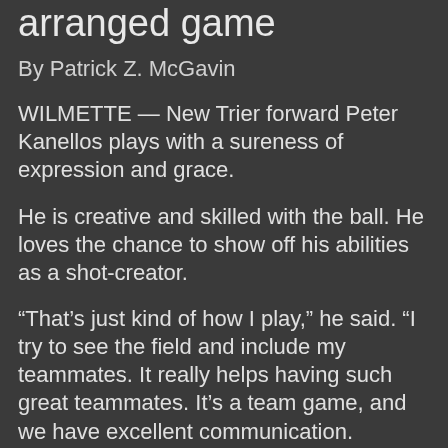arranged game
By Patrick Z. McGavin
WILMETTE — New Trier forward Peter Kanellos plays with a sureness of expression and grace.
He is creative and skilled with the ball. He loves the chance to show off his abilities as a shot-creator.
“That’s just kind of how I play,” he said. “I try to see the field and include my teammates. It really helps having such great teammates. It’s a team game, and we have excellent communication.